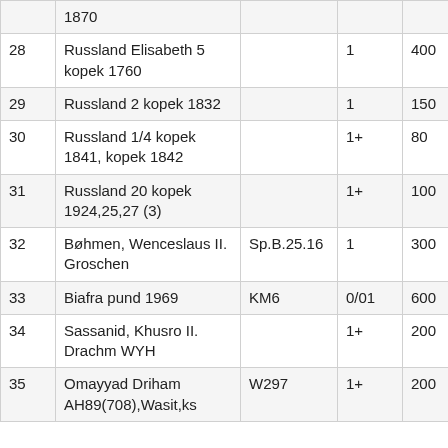| # | Description | Ref | Grade | Price |  |
| --- | --- | --- | --- | --- | --- |
|  | 1870 |  |  |  |  |
| 28 | Russland Elisabeth 5 kopek 1760 |  | 1 | 400 |  |
| 29 | Russland 2 kopek 1832 |  | 1 | 150 |  |
| 30 | Russland 1/4 kopek 1841, kopek 1842 |  | 1+ | 80 |  |
| 31 | Russland 20 kopek 1924,25,27 (3) |  | 1+ | 100 |  |
| 32 | Bøhmen, Wenceslaus II. Groschen | Sp.B.25.16 | 1 | 300 |  |
| 33 | Biafra pund 1969 | KM6 | 0/01 | 600 |  |
| 34 | Sassanid, Khusro II. Drachm WYH |  | 1+ | 200 |  |
| 35 | Omayyad Driham AH89(708),Wasit,ks | W297 | 1+ | 200 |  |